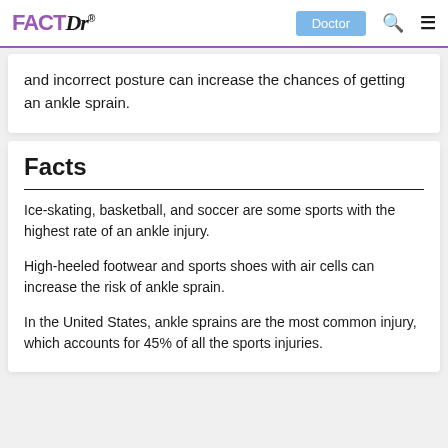FACTDr® | Doctor
and incorrect posture can increase the chances of getting an ankle sprain.
Facts
Ice-skating, basketball, and soccer are some sports with the highest rate of an ankle injury.
High-heeled footwear and sports shoes with air cells can increase the risk of ankle sprain.
In the United States, ankle sprains are the most common injury, which accounts for 45% of all the sports injuries.